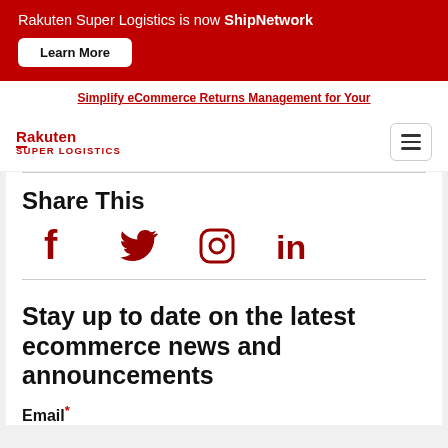Rakuten Super Logistics is now ShipNetwork
Learn More
Simplify eCommerce Returns Management for Your
[Figure (logo): Rakuten Super Logistics logo in red]
[Figure (illustration): Hamburger menu icon (three horizontal lines)]
Share This
[Figure (illustration): Social media icons: Facebook, Twitter, Instagram, LinkedIn — all in dark red]
Stay up to date on the latest ecommerce news and announcements
Email*